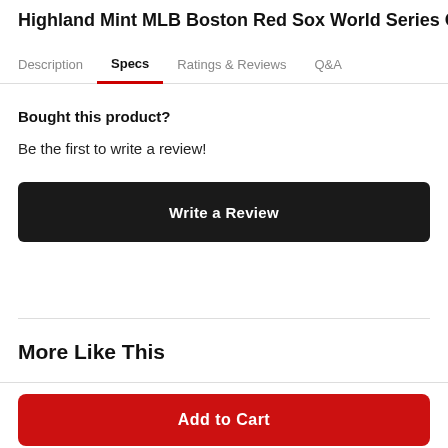Highland Mint MLB Boston Red Sox World Series Cha
Description  Specs  Ratings & Reviews  Q&A
Bought this product?
Be the first to write a review!
Write a Review
More Like This
Add to Cart